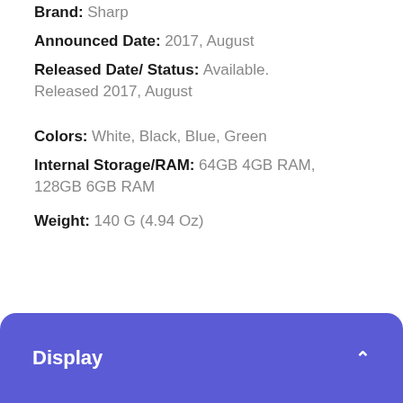Brand: Sharp
Announced Date: 2017, August
Released Date/ Status: Available. Released 2017, August
Colors: White, Black, Blue, Green
Internal Storage/RAM: 64GB 4GB RAM, 128GB 6GB RAM
Weight: 140 G (4.94 Oz)
Display